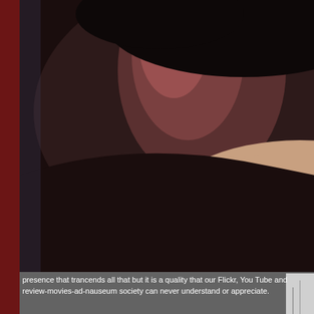[Figure (photo): Close-up artistic portrait photo of a woman with hand near neck/throat, dark moody lighting, appears to be black and white or desaturated color]
why so many see her as a starlet or a TV actor. She has a
[Figure (photo): Vertical strip/partial photo on right edge]
presence that trancends all that but it is a quality that our Flickr, You Tube and review-movies-ad-nauseum society can never understand or appreciate.
The newspapers, even when they may have a week's lead time will dispatch their stringer or city photographer who in a few seconds will take the shots and leave. A magazine more interested in profits, than quality, will simply demand that the star, starlet, dancer, actor, director use their PR photos, and we see the same photograph everywhere. In some cases the overworked "art" director
[Figure (photo): Black and white portrait photo of a woman with short dark hair, looking slightly downward, near a window]
As the use of good lighting that Flickr look. And since e untrained/computer course and command them to get t